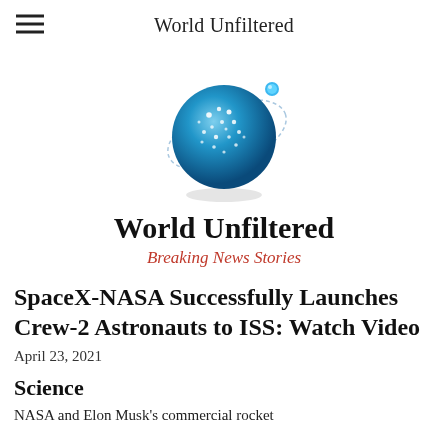World Unfiltered
[Figure (logo): Globe logo with dotted world map and orbital ring, blue tones with a bright blue satellite dot at top]
World Unfiltered
Breaking News Stories
SpaceX-NASA Successfully Launches Crew-2 Astronauts to ISS: Watch Video
April 23, 2021
Science
NASA and Elon Musk's commercial rocket